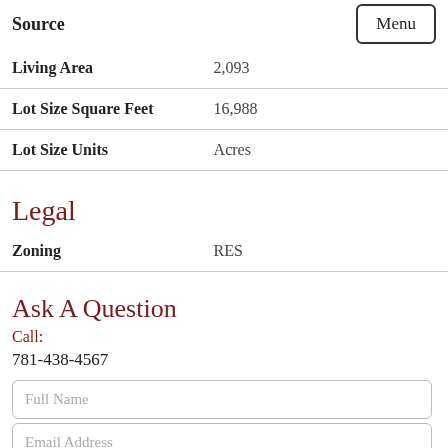Source
| Field | Value |
| --- | --- |
| Living Area | 2,093 |
| Lot Size Square Feet | 16,988 |
| Lot Size Units | Acres |
Legal
| Field | Value |
| --- | --- |
| Zoning | RES |
Ask A Question
Call:
781-438-4567
Full Name
Email Address